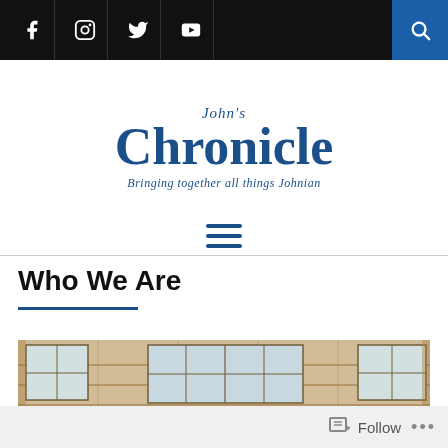Navigation bar with social icons (Facebook, Instagram, Twitter, YouTube) and search button
John's Chronicle — Bringing together all things Johnian
[Figure (screenshot): Hamburger menu icon (three horizontal lines in dark blue)]
Who We Are
[Figure (photo): Exterior photograph of a stone college building (St John's College) with large multi-pane windows and a coat of arms above the entrance doors, viewed from below looking upward]
Follow  ...